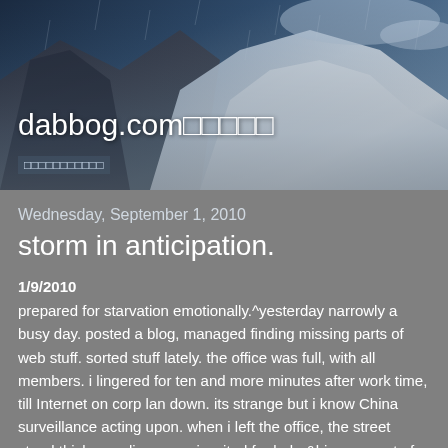[Figure (photo): Mountain or snowy landscape with stormy clouds and falling snow/rain, dark blue and grey tones, with website header overlay]
dabbog.com□□□□□
□□□□□□□□□□□
Wednesday, September 1, 2010
storm in anticipation.
1/9/2010
prepared for starvation emotionally.^yesterday narrowly a busy day. posted a blog, managed finding missing parts of web stuff. sorted stuff lately. the office was full, with all members. i lingered for ten and more minutes after work time, till Internet on corp lan down. its strange but i know China surveillance acting upon. when i left the office, the street stood thick guarding cops. i waited for baby&his mom out of his music school after left notebook in